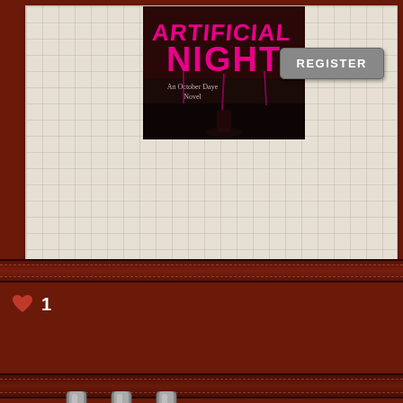[Figure (screenshot): Book cover for 'Artificial Night: An October Daye Novel' with pink/magenta stylized text on dark background]
REGISTER
[Figure (illustration): Heart icon followed by the number 1, indicating 1 like]
[Figure (illustration): Three metallic binder rings at top of notebook-style card]
7:10 pm 22 November 2013
[Figure (photo): Book cover showing a dark fantasy scene with a woman and swirling dark tendrils, purple tones]
I liked a lot about this bo... that bugged me enough ... the good stuff - I thought ... interesting.  Not as dark ... still we're in a city run by...